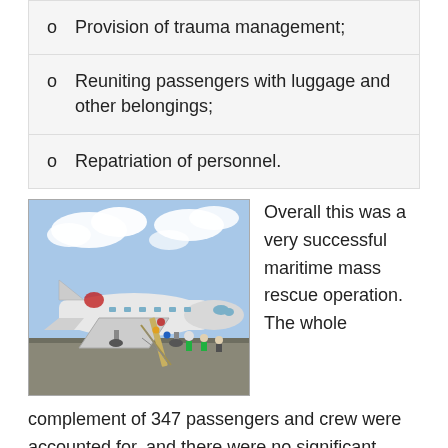Provision of trauma management;
Reuniting passengers with luggage and other belongings;
Repatriation of personnel.
[Figure (photo): Photo of an airplane on a tarmac with passengers boarding via a stairway, airport ground crew visible, cloudy sky in background.]
Overall this was a very successful maritime mass rescue operation. The whole complement of 347 passengers and crew were accounted for, and there were no significant injuries. "This," says Andrew Almond-Bell, "Is testament to the